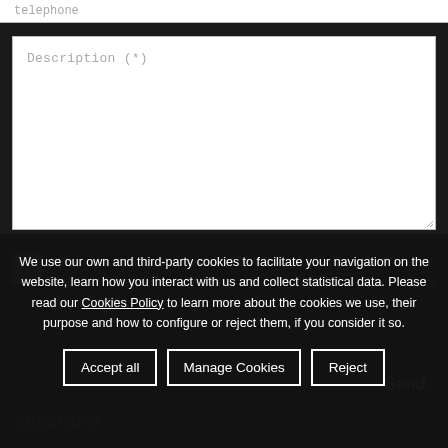telephone
Description (*)
When you press the button “SEND” you confirm you’ve read, understood and accepted the conditions of our Privacy Policy shown in this LINK
Send
We use our own and third-party cookies to facilitate your navigation on the website, learn how you interact with us and collect statistical data. Please read our Cookies Policy to learn more about the cookies we use, their purpose and how to configure or reject them, if you consider it so.
QUESTION?
Accept all
Manage Cookies
Reject